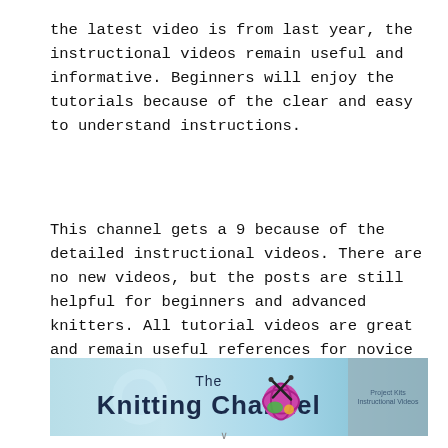the latest video is from last year, the instructional videos remain useful and informative. Beginners will enjoy the tutorials because of the clear and easy to understand instructions.
This channel gets a 9 because of the detailed instructional videos. There are no new videos, but the posts are still helpful for beginners and advanced knitters. All tutorial videos are great and remain useful references for novice and advanced knitters.
[Figure (illustration): Banner image for 'The Knitting Channel' with a light blue background, stylized text reading 'The Knitting Channel', a yarn ball with knitting needles icon in green/pink/yellow, and a grey sidebar box with text 'Project Kits Instructional Videos'.]